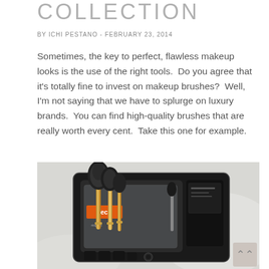COLLECTION
BY ICHI PESTANO - FEBRUARY 23, 2014
Sometimes, the key to perfect, flawless makeup looks is the use of the right tools.  Do you agree that it's totally fine to invest on makeup brushes?  Well, I'm not saying that we have to splurge on luxury brands.  You can find high-quality brushes that are really worth every cent.  Take this one for example.
[Figure (photo): A makeup brush set displayed in a black case/holder, featuring brushes with gold and silver handles and black bristles, laid on a white fabric surface. The packaging reads 'Tech' and appears to be a Real Techniques brush collection.]